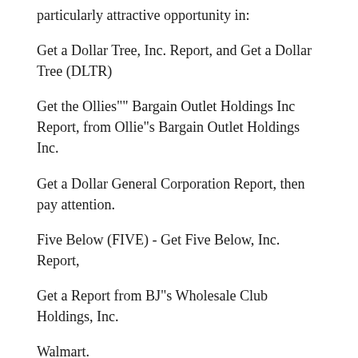particularly attractive opportunity in:
Get a Dollar Tree, Inc. Report, and Get a Dollar Tree (DLTR)
Get the Ollies"" Bargain Outlet Holdings Inc Report, from Ollie"s Bargain Outlet Holdings Inc.
Get a Dollar General Corporation Report, then pay attention.
Five Below (FIVE) - Get Five Below, Inc. Report,
Get a Report from BJ"s Wholesale Club Holdings, Inc.
Walmart.
The dollar is the goal of the year.
Dollar Generals is risky for low-income consumers, but the stock is once again discounting a lot, according to Kelly. Shares have dropped by 21% since May 16, the day before